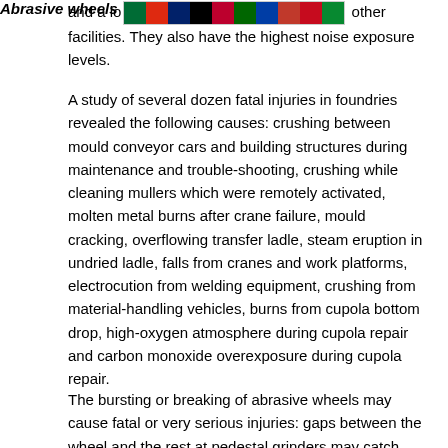and a lo… other facilities. They also have the highest noise exposure levels.
A study of several dozen fatal injuries in foundries revealed the following causes: crushing between mould conveyor cars and building structures during maintenance and trouble-shooting, crushing while cleaning mullers which were remotely activated, molten metal burns after crane failure, mould cracking, overflowing transfer ladle, steam eruption in undried ladle, falls from cranes and work platforms, electrocution from welding equipment, crushing from material-handling vehicles, burns from cupola bottom drop, high-oxygen atmosphere during cupola repair and carbon monoxide overexposure during cupola repair.
Abrasive wheels
The bursting or breaking of abrasive wheels may cause fatal or very serious injuries: gaps between the wheel and the rest at pedestal grinders may catch and crush the hand or forearm.